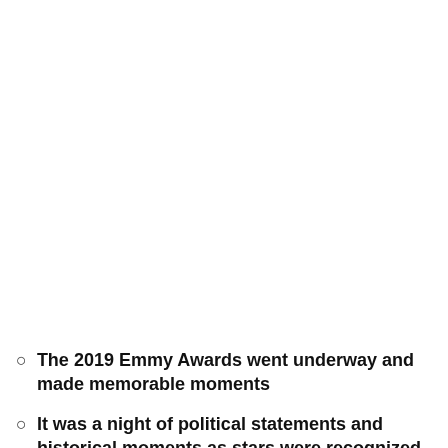[Figure (other): Audio player widget showing a circular play button, 'Listen to this article now' label, skip-back and skip-forward 10-second buttons, 1.0x speed button, progress bar, and timestamps 00:00 and 07:57]
The 2019 Emmy Awards went underway and made memorable moments
It was a night of political statements and historical moments as stars were recognized for their talent and ground-breaking work